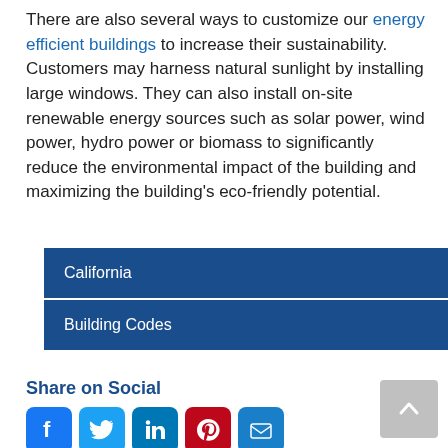There are also several ways to customize our energy efficient buildings to increase their sustainability. Customers may harness natural sunlight by installing large windows. They can also install on-site renewable energy sources such as solar power, wind power, hydro power or biomass to significantly reduce the environmental impact of the building and maximizing the building's eco-friendly potential.
California
Building Codes
Share on Social
[Figure (other): Social sharing icons: Facebook, Twitter, LinkedIn, Pinterest, Email; and a back-to-top button]